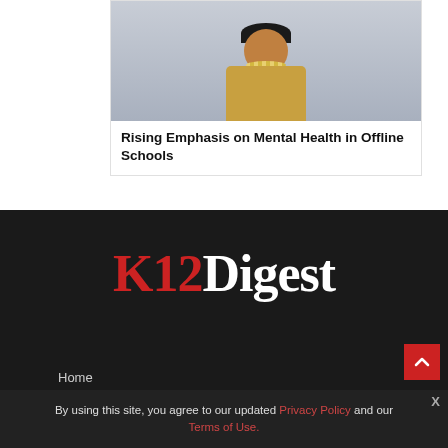[Figure (photo): Portrait photo of a woman wearing a saree with pearl necklace and dark hair]
Rising Emphasis on Mental Health in Offline Schools
[Figure (logo): K12Digest logo — K12 in red, Digest in white, on dark background]
Home
By using this site, you agree to our updated Privacy Policy and our Terms of Use.